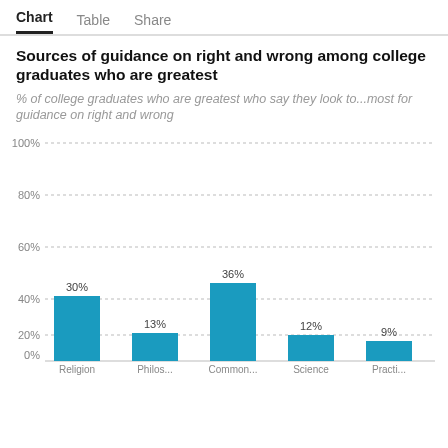Chart | Table | Share
Sources of guidance on right and wrong among college graduates who are greatest
% of college graduates who are greatest who say they look to...most for guidance on right and wrong
[Figure (bar-chart): Sources of guidance on right and wrong among college graduates who are greatest]